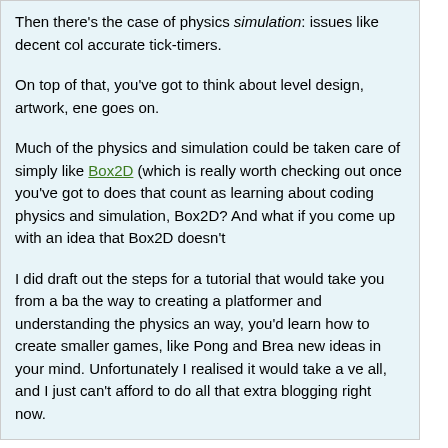Then there's the case of physics simulation: issues like decent col accurate tick-timers.
On top of that, you've got to think about level design, artwork, ene goes on.
Much of the physics and simulation could be taken care of simply like Box2D (which is really worth checking out once you've got to does that count as learning about coding physics and simulation, Box2D? And what if you come up with an idea that Box2D doesn't
I did draft out the steps for a tutorial that would take you from a ba the way to creating a platformer and understanding the physics an way, you'd learn how to create smaller games, like Pong and Brea new ideas in your mind. Unfortunately I realised it would take a ve all, and I just can't afford to do all that extra blogging right now.
Graham (Tsolron)  June 2, 2009 at 12:04 am